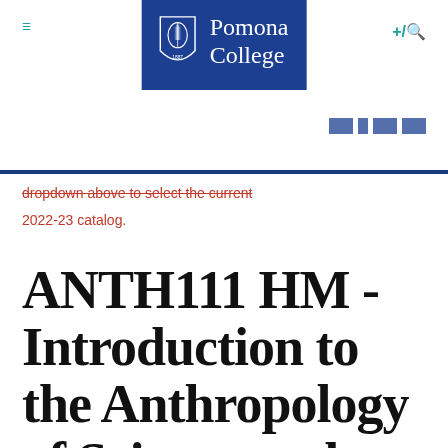[Figure (logo): Pomona College logo with shield icon and blue background]
dropdown above to select the current 2022-23 catalog.
ANTH111 HM - Introduction to the Anthropology of Science and Technology